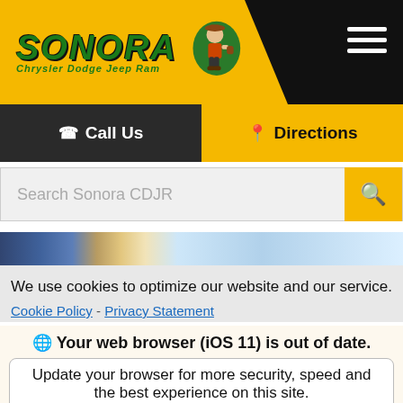[Figure (logo): Sonora Chrysler Dodge Jeep Ram dealer logo with yellow parallelogram background, green SONORA text, mascot character, and hamburger menu icon]
Call Us
Directions
Search Sonora CDJR
[Figure (photo): Partial image of a vehicle in a dealership setting]
We use cookies to optimize our website and our service.
Cookie Policy - Privacy Statement
Your web browser (iOS 11) is out of date.
Update your browser for more security, speed and the best experience on this site.
Update browser
Ignore